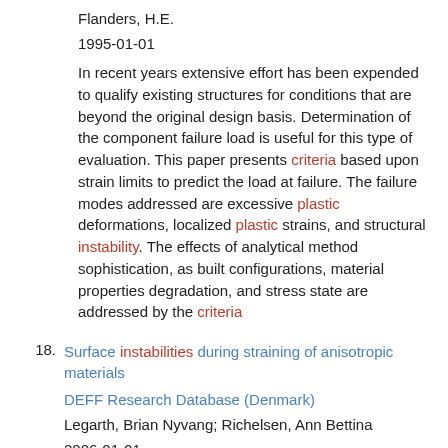Flanders, H.E.
1995-01-01
In recent years extensive effort has been expended to qualify existing structures for conditions that are beyond the original design basis. Determination of the component failure load is useful for this type of evaluation. This paper presents criteria based upon strain limits to predict the load at failure. The failure modes addressed are excessive plastic deformations, localized plastic strains, and structural instability. The effects of analytical method sophistication, as built configurations, material properties degradation, and stress state are addressed by the criteria
18. Surface instabilities during straining of anisotropic materials
DEFF Research Database (Denmark)
Legarth, Brian Nyvang; Richelsen, Ann Bettina
2006-01-01
The development of instabilities in traction-free surfaces is